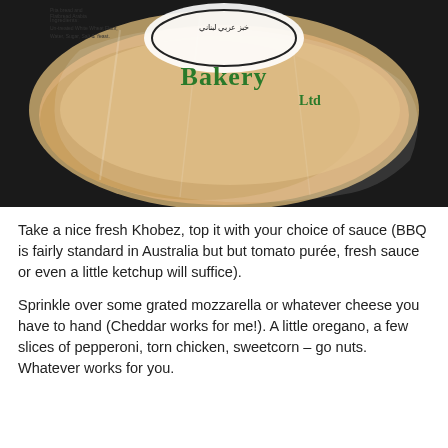[Figure (photo): A bag of pita/khobez flatbread from a bakery called 'Bakery Ltd', with Arabic text on the label. The bread is visible through clear plastic packaging.]
Take a nice fresh Khobez, top it with your choice of sauce (BBQ is fairly standard in Australia but but tomato purée, fresh sauce or even a little ketchup will suffice).
Sprinkle over some grated mozzarella or whatever cheese you have to hand (Cheddar works for me!). A little oregano, a few slices of pepperoni, torn chicken, sweetcorn – go nuts. Whatever works for you.